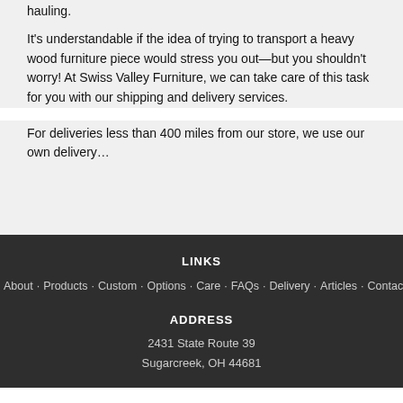hauling.
It's understandable if the idea of trying to transport a heavy wood furniture piece would stress you out—but you shouldn't worry! At Swiss Valley Furniture, we can take care of this task for you with our shipping and delivery services.
For deliveries less than 400 miles from our store, we use our own delivery…
LINKS
About · Products · Custom · Options · Care · FAQs · Delivery · Articles · Contact
ADDRESS
2431 State Route 39